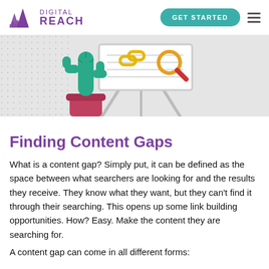DIGITAL REACH
[Figure (illustration): Illustration of a cactus in a pink pot next to an easel/whiteboard showing a chain link icon and a magnifying glass, on a light gray background with dotted pattern on the left.]
Finding Content Gaps
What is a content gap? Simply put, it can be defined as the space between what searchers are looking for and the results they receive. They know what they want, but they can't find it through their searching. This opens up some link building opportunities. How? Easy. Make the content they are searching for.
A content gap can come in all different forms: